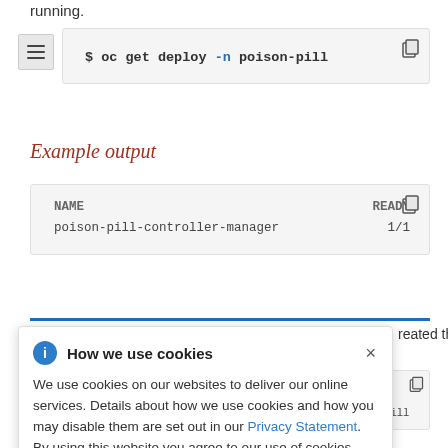running.
Example output
| NAME | READY |
| --- | --- |
| poison-pill-controller-manager | 1/1 |
How we use cookies
We use cookies on our websites to deliver our online services. Details about how we use cookies and how you may disable them are set out in our Privacy Statement. By using this website you agree to our use of cookies.